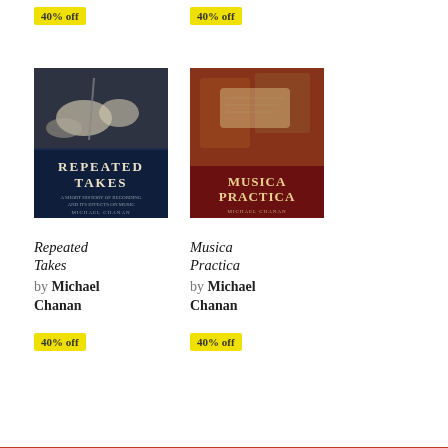40% off
40% off
[Figure (photo): Book cover of 'Repeated Takes' by Michael Chanan — dark navy cover with a black and white image of people in hats, titled 'REPEATED TAKES: A SHORT HISTORY OF RECORDING AND ITS EFFECTS ON MUSIC']
[Figure (photo): Book cover of 'Musica Practica' by Michael Chanan — dark red cover with a classical painting of musical instruments and scrolls]
Repeated Takes
by Michael Chanan
40% off
Musica Practica
by Michael Chanan
40% off